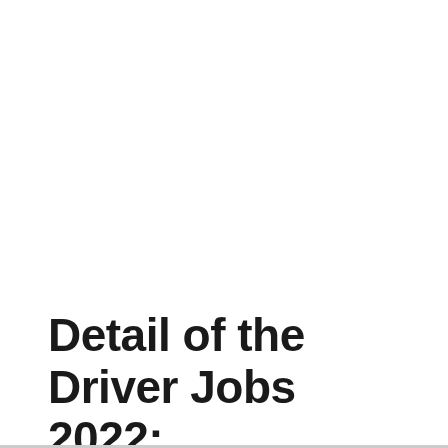Detail of the Driver Jobs 2022: